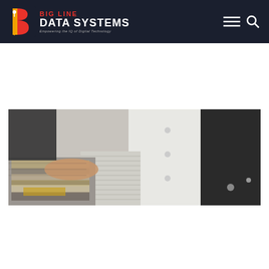BIG LINE DATA SYSTEMS — Empowering the IQ of Digital Technology
[Figure (photo): Person holding fabric swatches in various textures and patterns, wearing a white dress shirt with dark jacket.]